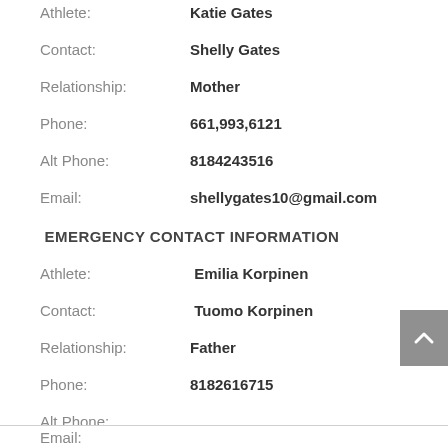Athlete: Katie Gates
Contact: Shelly Gates
Relationship: Mother
Phone: 661,993,6121
Alt Phone: 8184243516
Email: shellygates10@gmail.com
EMERGENCY CONTACT INFORMATION
Athlete: Emilia Korpinen
Contact: Tuomo Korpinen
Relationship: Father
Phone: 8182616715
Alt Phone:
Email: (cut off)